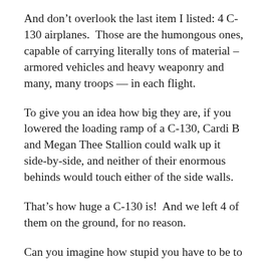And don't overlook the last item I listed: 4 C-130 airplanes.  Those are the humongous ones, capable of carrying literally tons of material – armored vehicles and heavy weaponry and many, many troops — in each flight.
To give you an idea how big they are, if you lowered the loading ramp of a C-130, Cardi B and Megan Thee Stallion could walk up it side-by-side, and neither of their enormous behinds would touch either of the side walls.
That's how huge a C-130 is!  And we left 4 of them on the ground, for no reason.
Can you imagine how stupid you have to be to